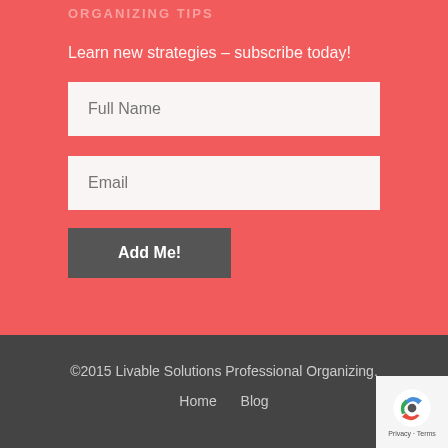ORGANIZING TIPS
Learn new strategies – subscribe today!
[Figure (screenshot): Full Name input field placeholder]
[Figure (screenshot): Email input field placeholder]
[Figure (screenshot): Add Me! button]
©2015 Livable Solutions Professional Organizing.
Home   Blog